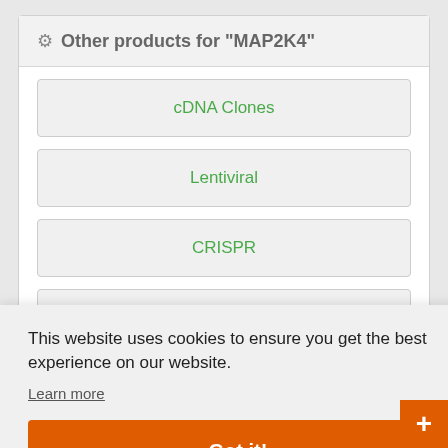Other products for "MAP2K4"
cDNA Clones
Lentiviral
CRISPR
RNAi
This website uses cookies to ensure you get the best experience on our website.
Learn more
Got it!
elays
our
eeks in
Live Chat